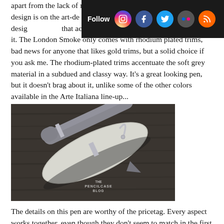apart from the lack of metal gilding. The Arte Italiana design is on the art-deco side, using a striped pattern on itself a rather unusual design element, that accentuate the design when the light catches it. The London Smoke only comes with rhodium plated trims, bad news for anyone that likes gold trims, but a solid choice if you ask me. The rhodium-plated trims accentuate the soft grey material in a subdued and classy way. It's a great looking pen, but it doesn't brag about it, unlike some of the other colors available in the Arte Italiana line-up...
[Figure (photo): A grey fountain pen lying diagonally on a dark wooden surface next to a grey pen case/pouch. The pen has rhodium-plated trims and an arched clip. Watermark reads THE PENCILCASE BLOG.]
The details on this pen are worthy of the pricetag. Every aspect works together, even though they don't seem to match in the first place. The arched clip has a rolling wheel at the end, sort of a trademark in the Italian pen industry, and useful for those who like clipping their pens onto something. The center band has a greek